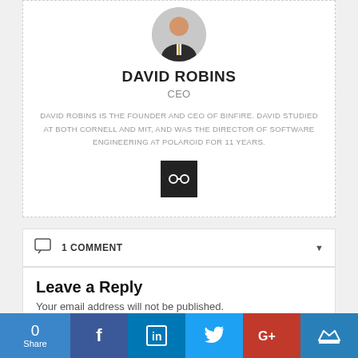[Figure (photo): Circular avatar/headshot of David Robins, a man in a dark suit]
DAVID ROBINS
CEO
DAVID ROBINS IS THE FOUNDER AND CEO OF BINFIRE. DAVID STUDIED AT BOTH CORNELL AND MIT, AND WAS THE DIRECTOR OF SOFTWARE ENGINEERING AT POLAROID FOR 11 YEARS.
[Figure (other): Dark square button with a link/chain icon]
1 COMMENT
Leave a Reply
Your email address will not be published.
[Figure (infographic): Social share bar with count 0, Facebook, LinkedIn, Twitter, Google+, and crown icon buttons]